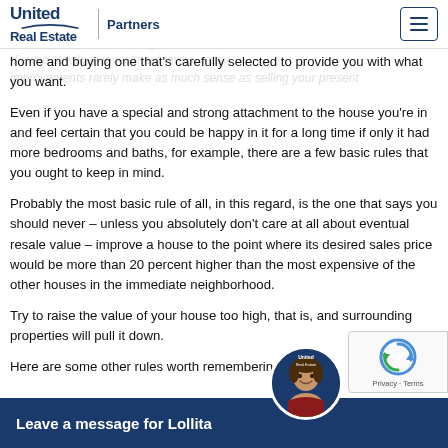United Real Estate Partners
home and buying one that's carefully selected to provide you with what you want.
Even if you have a special and strong attachment to the house you're in and feel certain that you could be happy in it for a long time if only it had more bedrooms and baths, for example, there are a few basic rules that you ought to keep in mind.
Probably the most basic rule of all, in this regard, is the one that says you should never – unless you absolutely don't care at all about eventual resale value – improve a house to the point where its desired sales price would be more than 20 percent higher than the most expensive of the other houses in the immediate neighborhood.
Try to raise the value of your house too high, that is, and surrounding properties will pull it down.
Here are some other rules worth remembering:
Ne… reduces
[Figure (other): Chat bar overlay at bottom: 'Leave a message for Lollita' with agent avatar and reCAPTCHA badge]